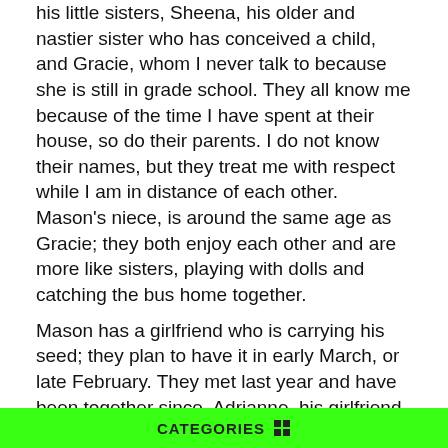his little sisters, Sheena, his older and nastier sister who has conceived a child, and Gracie, whom I never talk to because she is still in grade school. They all know me because of the time I have spent at their house, so do their parents. I do not know their names, but they treat me with respect while I am in distance of each other. Mason's niece, is around the same age as Gracie; they both enjoy each other and are more like sisters, playing with dolls and catching the bus home together.
Mason has a girlfriend who is carrying his seed; they plan to have it in early March, or late February. They met last year and have been together since, Adrianne, his girlfriend went to school with me and we were friends, now I think it's cool that we all can hangout some day.

He lives with his parents still in a small home near the edge of town, his backyard has a basketball court, that we played on, and a clothesline. His room has a weightlifting bench and posters of rap stars that show his music interests; also a
CATEGORIES